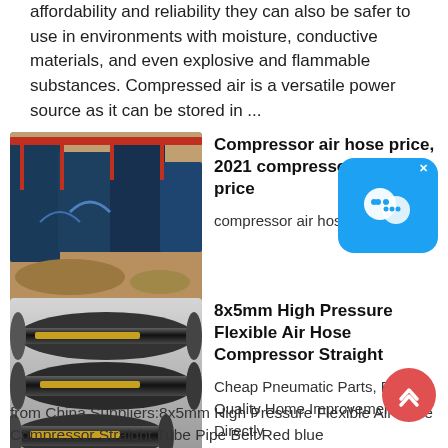affordability and reliability they can also be safer to use in environments with moisture, conductive materials, and even explosive and flammable substances. Compressed air is a versatile power source as it can be stored in ...
[Figure (photo): Industrial machinery / compressor equipment at a construction or mining site, large blue metal structures]
Compressor air hose price, 2021 compressor air hose price
compressor air hose price
[Figure (photo): Three dark grey flexible air hoses with yellow stripe labels, bundled together on a grey background]
8x5mm High Pressure Flexible Air Hose Compressor Straight
Cheap Pneumatic Parts, Buy Quality Home Improvement Directly from China Suppliers:8x5mm High Pressure Flexible Air Hose Compressor Straight Tube Pipe Belt Red blue